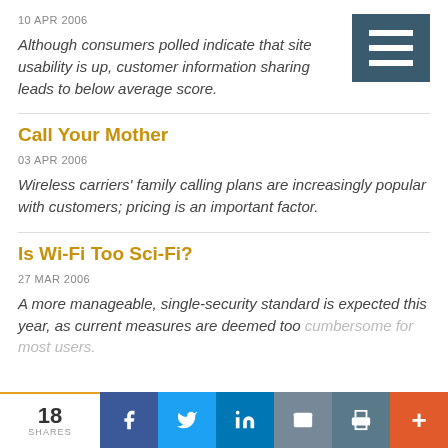10 APR 2006
Although consumers polled indicate that site usability is up, customer information sharing leads to below average score.
Call Your Mother
03 APR 2006
Wireless carriers' family calling plans are increasingly popular with customers; pricing is an important factor.
Is Wi-Fi Too Sci-Fi?
27 MAR 2006
A more manageable, single-security standard is expected this year, as current measures are deemed too cumbersome for most users.
18 SHARES | Facebook | Twitter | LinkedIn | Email | Print | +